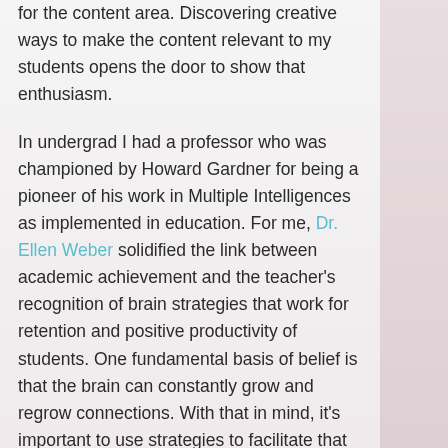for the content area. Discovering creative ways to make the content relevant to my students opens the door to show that enthusiasm.

In undergrad I had a professor who was championed by Howard Gardner for being a pioneer of his work in Multiple Intelligences as implemented in education. For me, Dr. Ellen Weber solidified the link between academic achievement and the teacher's recognition of brain strategies that work for retention and positive productivity of students. One fundamental basis of belief is that the brain can constantly grow and regrow connections. With that in mind, it's important to use strategies to facilitate that growth.